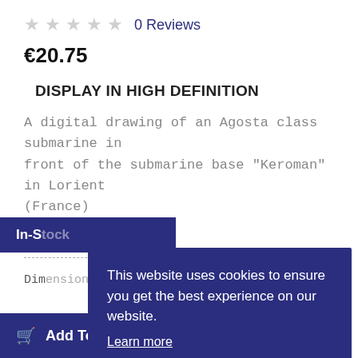★★★★★ 0 Reviews
€20.75
DISPLAY IN HIGH DEFINITION
A digital drawing of an Agosta class submarine in front of the submarine base "Keroman" in Lorient (France)
In-Stock
Dimensions  A2 (8.3cm × 23.4 in)
Quantity  1
Add To Cart
This website uses cookies to ensure you get the best experience on our website. Learn more  Got it!